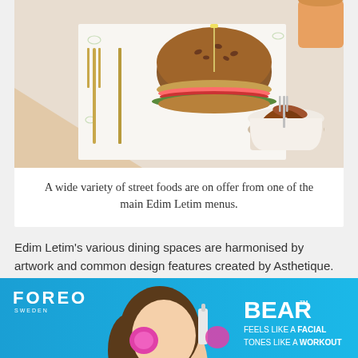[Figure (photo): Overhead view of a burger and potato wedges in a bowl on a patterned white paper, with gold cutlery, on a light background.]
A wide variety of street foods are on offer from one of the main Edim Letim menus.
Edim Letim's various dining spaces are harmonised by artwork and common design features created by Asthetique. The fascia of each food counter is customised to reflect its respective cuisine, while maintaining a unified overall design and branding.
[Figure (photo): FOREO BEAR advertisement banner. Shows a woman touching her face with a pink BEAR device. Text: FOREO SWEDEN, BEAR™, FEELS LIKE A FACIAL TONES LIKE A WORKOUT. Blue background.]